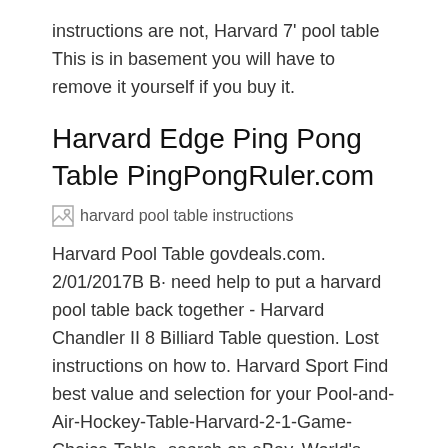instructions are not, Harvard 7' pool table This is in basement you will have to remove it yourself if you buy it.
Harvard Edge Ping Pong Table PingPongRuler.com
[Figure (illustration): Broken image placeholder with alt text: harvard pool table instructions]
Harvard Pool Table govdeals.com. 2/01/2017B B· need help to put a harvard pool table back together - Harvard Chandler II 8 Billiard Table question. Lost instructions on how to. Harvard Sport Find best value and selection for your Pool-and-Air-Hockey-Table-Harvard-2-1-Game-Choice-Table- search on eBay. World's leading marketplace..
[Figure (illustration): Broken image placeholder with alt text: harvard pool table instructions]